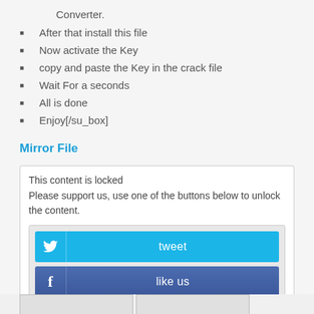Converter.
After that install this file
Now activate the Key
copy and paste the Key in the crack file
Wait For a seconds
All is done
Enjoy[/su_box]
Mirror File
This content is locked
Please support us, use one of the buttons below to unlock the content.